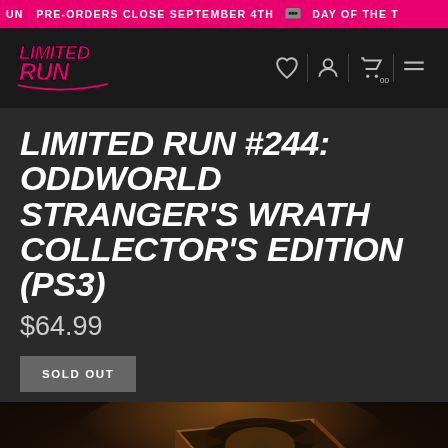PRE-ORDERS CLOSE SEPTEMBER 4TH   DAY OF THE T
[Figure (logo): Limited Run Games logo in pink/magenta stylized text on dark background, with navigation icons (heart, user, cart, menu)]
LIMITED RUN #244: ODDWORLD STRANGER'S WRATH COLLECTOR'S EDITION (PS3)
$64.99
SOLD OUT
[Figure (photo): Oddworld Stranger's Wrath Collector's Edition box with dark fantasy artwork showing a creature silhouette and the text ODDWORLD STRANGER'S WRATH on the box front]